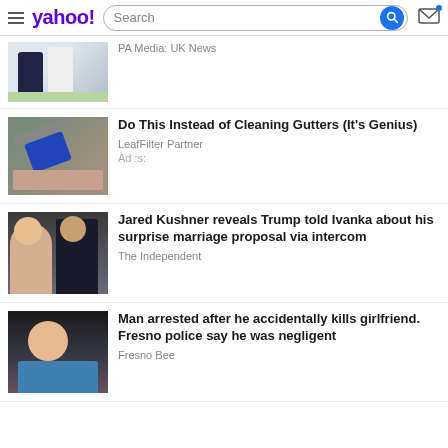yahoo! Search
PA Media: UK News
Do This Instead of Cleaning Gutters (It's Genius)
LeafFilter Partner
Ad :s:
Jared Kushner reveals Trump told Ivanka about his surprise marriage proposal via intercom
The Independent
Man arrested after he accidentally kills girlfriend. Fresno police say he was negligent
Fresno Bee